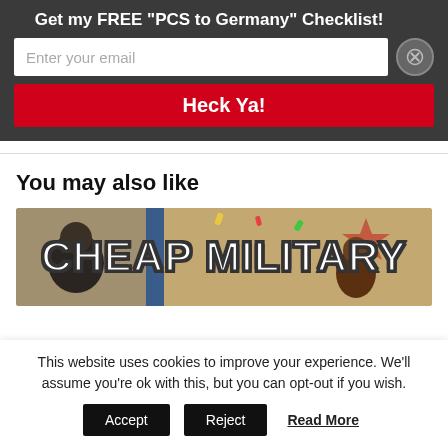Get my FREE "PCS to Germany" Checklist!
Enter your email
Heck Ya!
You may also like
[Figure (photo): Thumbnail image with bold text reading CHEAP MILITARY over a background scene with people and decorative elements]
This website uses cookies to improve your experience. We'll assume you're ok with this, but you can opt-out if you wish.
Accept   Reject   Read More